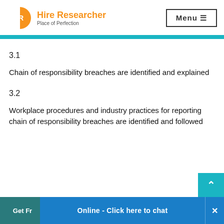[Figure (logo): Hire Researcher logo with circular HR icon (blue and orange) and text 'Hire Researcher / Place of Perfection']
3.1
Chain of responsibility breaches are identified and explained
3.2
Workplace procedures and industry practices for reporting chain of responsibility breaches are identified and followed
Get Fr   Online - Click here to chat  ×